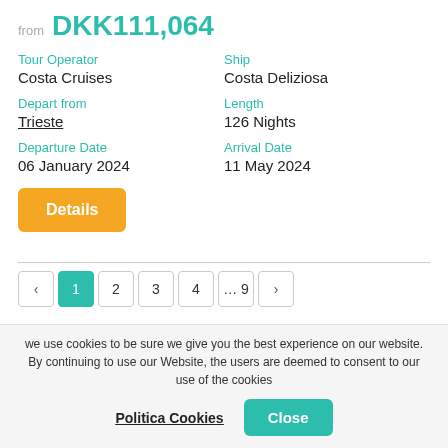from DKK111,064
Tour Operator
Costa Cruises
Ship
Costa Deliziosa
Depart from
Trieste
Length
126 Nights
Departure Date
06 January 2024
Arrival Date
11 May 2024
Details
< 1 2 3 4 … 9 >
we use cookies to be sure we give you the best experience on our website. By continuing to use our Website, the users are deemed to consent to our use of the cookies
Politica Cookies   Close